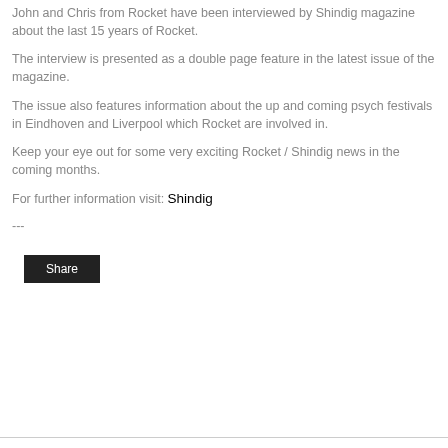John and Chris from Rocket have been interviewed by Shindig magazine about the last 15 years of Rocket.
The interview is presented as a double page feature in the latest issue of the magazine.
The issue also features information about the up and coming psych festivals in Eindhoven and Liverpool which Rocket are involved in.
Keep your eye out for some very exciting Rocket / Shindig news in the coming months.
For further information visit: Shindig
---
Share